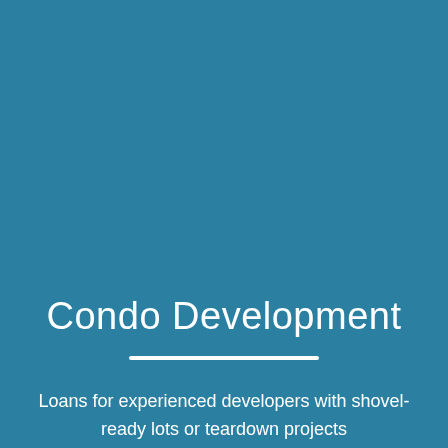Condo Development
Loans for experienced developers with shovel-ready lots or teardown projects
Loan for projects in mid construction that need refinancing